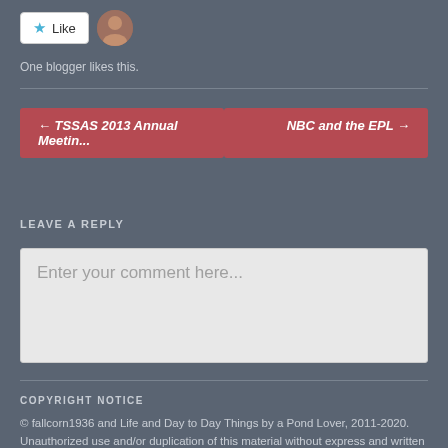[Figure (other): Like button with star icon and blogger avatar]
One blogger likes this.
← TSSAS 2013 Annual Meetin...
NBC and the EPL →
LEAVE A REPLY
Enter your comment here...
COPYRIGHT NOTICE
© fallcorn1936 and Life and Day to Day Things by a Pond Lover, 2011-2020. Unauthorized use and/or duplication of this material without express and written permission from this blog's author and/or owner is strictly prohibited. Excerpts and links may be used, provided that full and clear credit